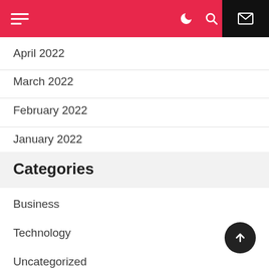Navigation bar with hamburger menu, moon icon, search icon, and mail icon
April 2022
March 2022
February 2022
January 2022
Categories
Business
Technology
Uncategorized